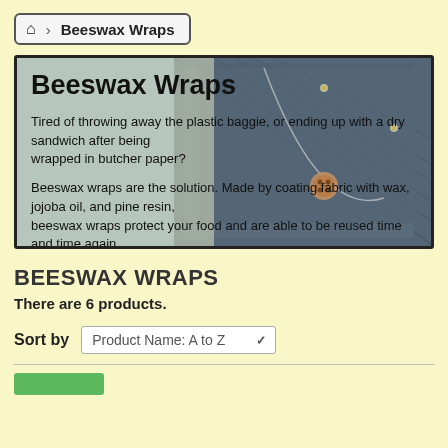Home > Beeswax Wraps
[Figure (photo): Photo of beeswax wraps made from fabric coated with wax, with a button visible, overlaid with text about the product.]
Beeswax Wraps
Tired of throwing away the plastic baggie, or ending up with a dry sandwich after being wrapped in butcher paper?
Beeswax wraps are the solution. Made by coating fabric with wax, jojoba oil, and pine resin, beeswax wraps protect your food and are able to be reused time and time again.
BEESWAX WRAPS
There are 6 products.
Sort by  Product Name: A to Z